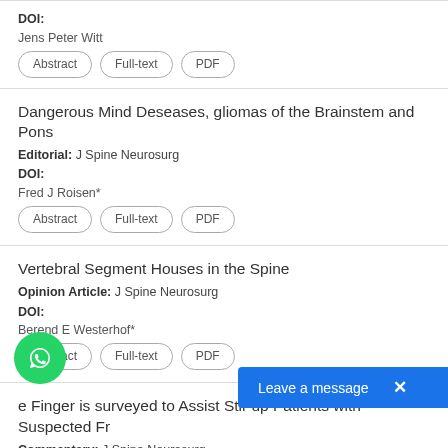DOI:
Jens Peter Witt
Abstract | Full-text | PDF
Dangerous Mind Deseases, gliomas of the Brainstem and Pons
Editorial: J Spine Neurosurg
DOI:
Fred J Roisen*
Abstract | Full-text | PDF
Vertebral Segment Houses in the Spine
Opinion Article: J Spine Neurosurg
DOI:
Berend E Westerhof*
Abstract | Full-text | PDF
e Finger is surveyed to Assist Stir up Patients with Suspected Fr
Commentary: J Spine Neurosurg